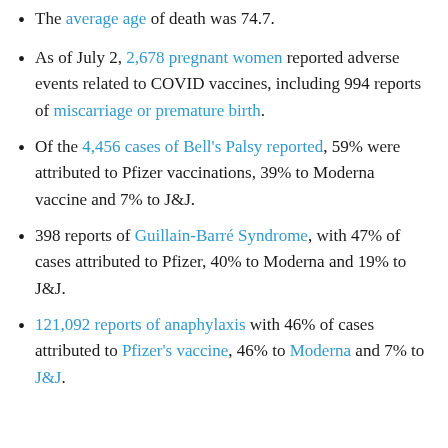The average age of death was 74.7.
As of July 2, 2,678 pregnant women reported adverse events related to COVID vaccines, including 994 reports of miscarriage or premature birth.
Of the 4,456 cases of Bell’s Palsy reported, 59% were attributed to Pfizer vaccinations, 39% to Moderna vaccine and 7% to J&J.
398 reports of Guillain-Barré Syndrome, with 47% of cases attributed to Pfizer, 40% to Moderna and 19% to J&J.
121,092 reports of anaphylaxis with 46% of cases attributed to Pfizer’s vaccine, 46% to Moderna and 7% to J&J.